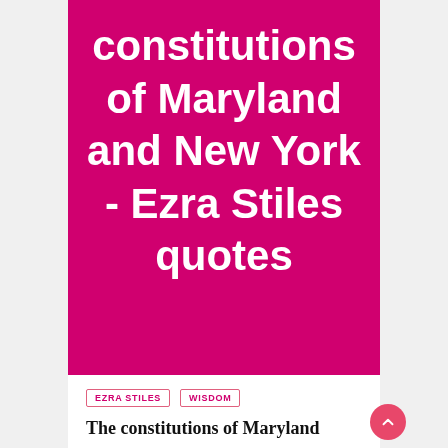constitutions of Maryland and New York - Ezra Stiles quotes
EZRA STILES
WISDOM
The constitutions of Maryland